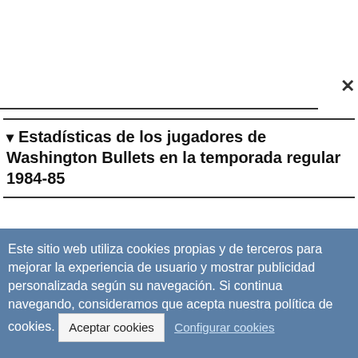▾ Estadísticas de los jugadores de Washington Bullets en la temporada regular 1984-85
Este sitio web utiliza cookies propias y de terceros para mejorar la experiencia de usuario y mostrar publicidad personalizada según su navegación. Si continua navegando, consideramos que acepta nuestra política de cookies.